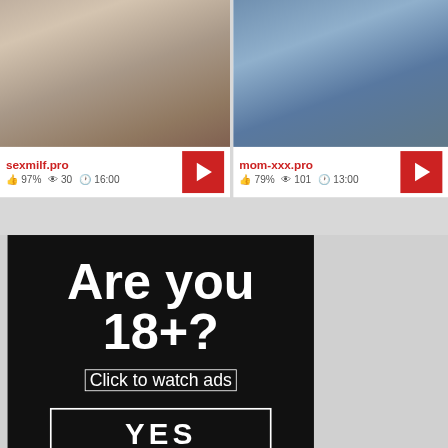[Figure (screenshot): Video thumbnail showing person sitting, semi-explicit content, associated with sexmilf.pro]
sexmilf.pro 👍 97% 👁 30 🕐 16:00
[Figure (screenshot): Video thumbnail showing person in jeans from behind, associated with mom-xxx.pro]
mom-xxx.pro 👍 79% 👁 101 🕐 13:00
[Figure (infographic): Age verification ad banner on black background. Text: Are you 18+? Click to watch ads. YES button.]